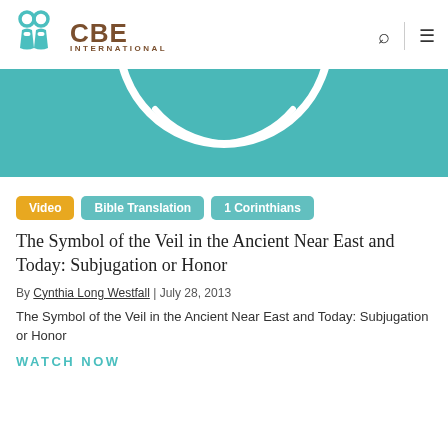CBE INTERNATIONAL
[Figure (illustration): Teal background hero image with a white circular arc/veil graphic shape at the top center]
Video
Bible Translation
1 Corinthians
The Symbol of the Veil in the Ancient Near East and Today: Subjugation or Honor
By Cynthia Long Westfall | July 28, 2013
The Symbol of the Veil in the Ancient Near East and Today: Subjugation or Honor
WATCH NOW